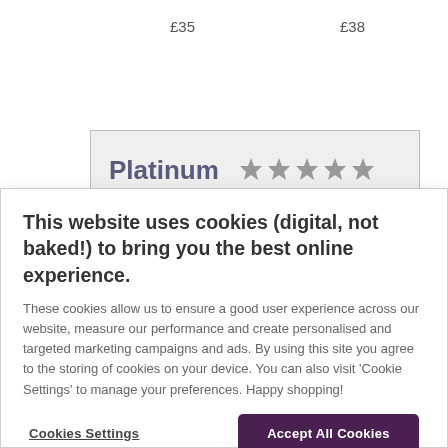£35
£38
[Figure (other): Platinum Trusted Service Award badge with 5 grey stars]
This website uses cookies (digital, not baked!) to bring you the best online experience.
These cookies allow us to ensure a good user experience across our website, measure our performance and create personalised and targeted marketing campaigns and ads. By using this site you agree to the storing of cookies on your device. You can also visit 'Cookie Settings' to manage your preferences. Happy shopping!
Cookies Settings
Accept All Cookies